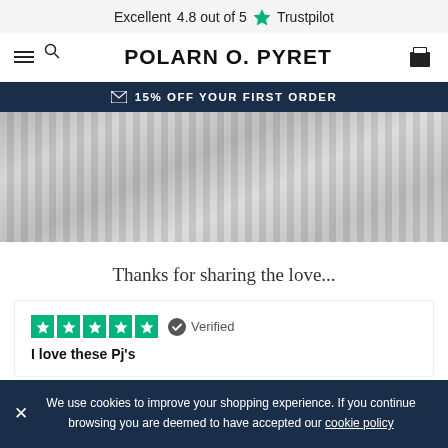Excellent 4.8 out of 5 ★ Trustpilot
[Figure (logo): Polarn O. Pyret website header with hamburger menu, search icon, logo text, and bag icon]
✉ 15% OFF YOUR FIRST ORDER
[Figure (photo): Black and white photo of a child in striped pajamas]
Thanks for sharing the love...
[Figure (infographic): 5-star Trustpilot rating (green filled stars) with Verified badge and review title: I love these Pj's]
I love these Pj's
We use cookies to improve your shopping experience. If you continue browsing you are deemed to have accepted our cookie policy